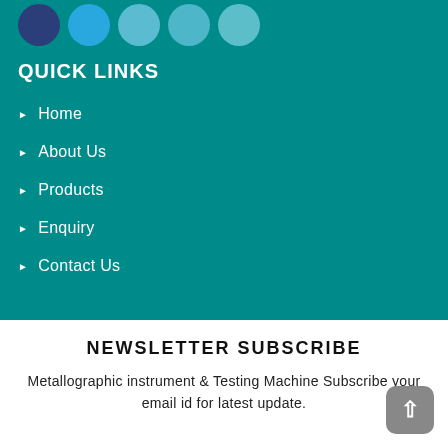[Figure (illustration): Row of social media icon circles (Facebook dark blue, Twitter light blue, Google+ teal, YouTube teal, LinkedIn teal) at top of teal section]
QUICK LINKS
Home
About Us
Products
Enquiry
Contact Us
NEWSLETTER SUBSCRIBE
Metallographic instrument & Testing Machine Subscribe your email id for latest update.